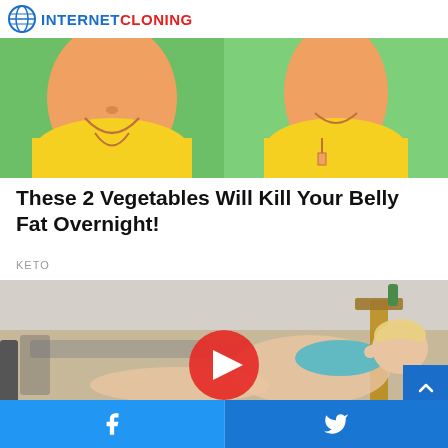INTERNET CLONING
[Figure (illustration): Two side-by-side cartoon/illustrated images of belly/midsection in yellow swimwear on green background, showing belly fat reduction concept]
These 2 Vegetables Will Kill Your Belly Fat Overnight!
KETO
[Figure (photo): Video thumbnail showing a blonde woman lying on a beach chair in a blue bikini, with a YouTube-style red play button overlay]
Facebook share | Twitter share